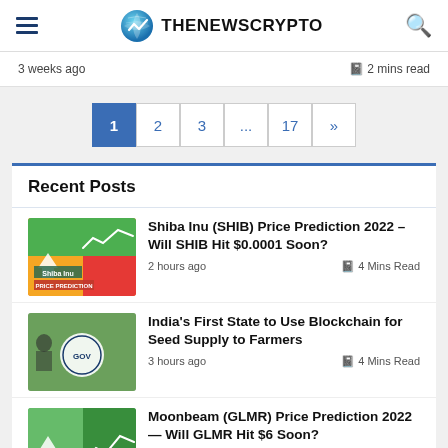THENEWSCRYPTO
3 weeks ago   2 mins read
1  2  3  ...  17  »
Recent Posts
Shiba Inu (SHIB) Price Prediction 2022 – Will SHIB Hit $0.0001 Soon?
2 hours ago   4 Mins Read
India's First State to Use Blockchain for Seed Supply to Farmers
3 hours ago   4 Mins Read
Moonbeam (GLMR) Price Prediction 2022 — Will GLMR Hit $6 Soon?